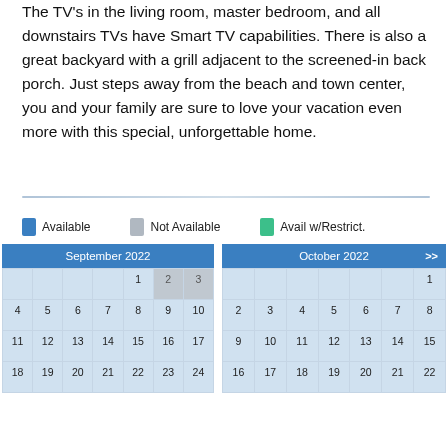The TV's in the living room, master bedroom, and all downstairs TVs have Smart TV capabilities. There is also a great backyard with a grill adjacent to the screened-in back porch. Just steps away from the beach and town center, you and your family are sure to love your vacation even more with this special, unforgettable home.
[Figure (other): Calendar availability legend and two monthly calendars for September 2022 and October 2022. Available (blue), Not Available (gray), Avail w/Restrict. (green) legend shown above calendars.]